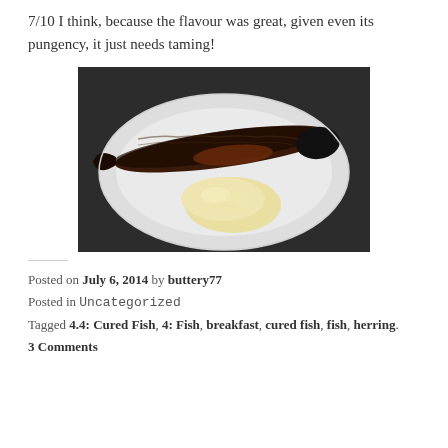7/10 I think, because the flavour was great, given even its pungency, it just needs taming!
[Figure (photo): A whole smoked/cured dark fish (herring) with its head on, placed on a white plate with a mound of creamy mashed or scrambled food beside it. The plate is on a dark surface.]
Posted on July 6, 2014 by buttery77
Posted in Uncategorized
Tagged 4.4: Cured Fish, 4: Fish, breakfast, cured fish, fish, herring.
3 Comments